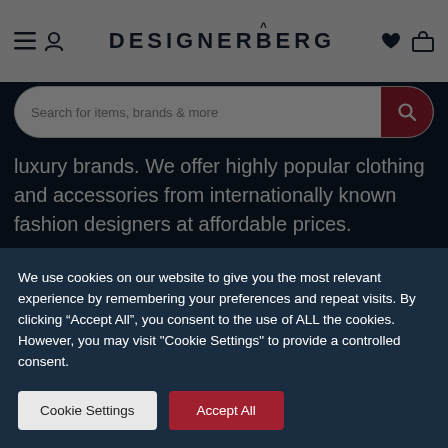DESIGNERBERG
Search for items, brands & more
luxury brands. We offer highly popular clothing and accessories from internationally known fashion designers at affordable prices.
EMAIL US
MY ACCOUNT
We use cookies on our website to give you the most relevant experience by remembering your preferences and repeat visits. By clicking “Accept All”, you consent to the use of ALL the cookies. However, you may visit "Cookie Settings" to provide a controlled consent.